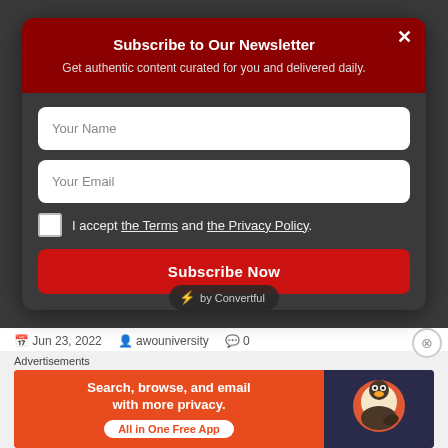Subscribe to Our Newsletter
Get authentic content curated for you and delivered daily.
Your Name
Your Email
I accept the Terms and the Privacy Policy.
Subscribe Now
⚡ by Convertful
Jun 23, 2022   awouniversity   0
Advertisements
[Figure (screenshot): DuckDuckGo advertisement banner: orange left side with text 'Search, browse, and email with more privacy. All in One Free App', and dark right side with DuckDuckGo duck logo.]